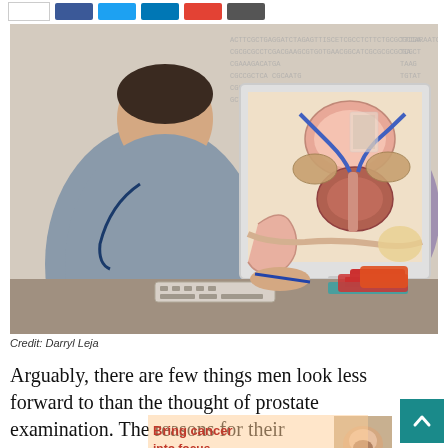[Figure (photo): Doctor and patient looking at a computer monitor displaying an anatomical illustration of the prostate gland. The doctor is holding a pen and pointing at the screen. There is a DNA/genetic code pattern in the background.]
Credit: Darryl Leja
Arguably, there are few things men look less forward to than the thought of prostate examination. The reasons for their
[Figure (photo): Small thumbnail image partially visible at bottom right, appears to show a close-up medical or scientific image related to prostate cancer.]